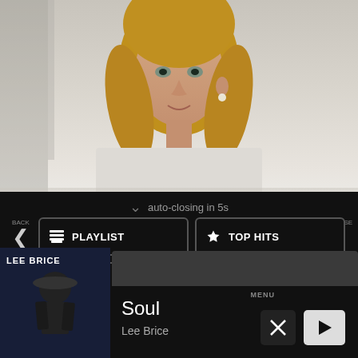[Figure (photo): Photo of a blonde woman with long wavy hair, light eyes, wearing pearl earrings, in front of a bright window background.]
auto-closing in 5s
BACK
COLLAPSE
PLAYLIST
TOP HITS
LISTEN LIVE
MY VOTES
CONTROLS
Data opt-out
Soul
Lee Brice
MENU